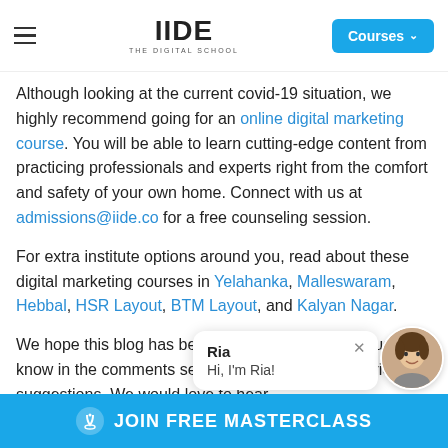IIDE THE DIGITAL SCHOOL — Courses
Although looking at the current covid-19 situation, we highly recommend going for an online digital marketing course. You will be able to learn cutting-edge content from practicing professionals and experts right from the comfort and safety of your own home. Connect with us at admissions@iide.co for a free counseling session.
For extra institute options around you, read about these digital marketing courses in Yelahanka, Malleswaram, Hebbal, HSR Layout, BTM Layout, and Kalyan Nagar.
We hope this blog has been helpful for you. Do let us know in the comments section if you have any queries or suggestions. We would love to hear
[Figure (screenshot): Chat popup widget showing 'Ria' with message 'Hi, I'm Ria!' and a circular avatar photo of a woman]
JOIN FREE MASTERCLASS